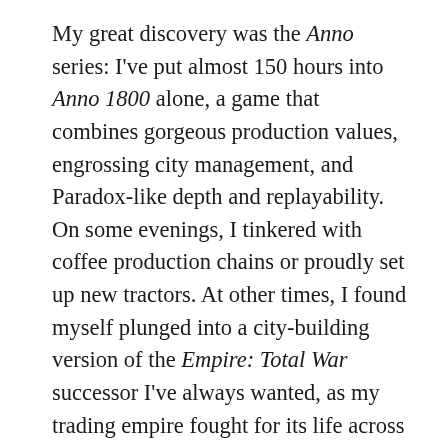My great discovery was the Anno series: I've put almost 150 hours into Anno 1800 alone, a game that combines gorgeous production values, engrossing city management, and Paradox-like depth and replayability. On some evenings, I tinkered with coffee production chains or proudly set up new tractors. At other times, I found myself plunged into a city-building version of the Empire: Total War successor I've always wanted, as my trading empire fought for its life across multiple continents. Whether trying to inaugurate a World's Fair, or ensuring that the chocolate must flow, there is always something more to do. And I think the Anno series' central idea — that society depends on long, elaborate